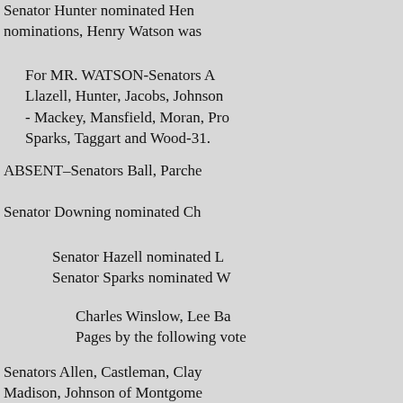Senator Hunter nominated Henry … nominations, Henry Watson was …
For MR. WATSON-Senators A… Llazell, Hunter, Jacobs, Johnson… - Mackey, Mansfield, Moran, Pro… Sparks, Taggart and Wood-31.
ABSENT–Senators Ball, Parche…
Senator Downing nominated Ch…
Senator Hazell nominated L…
  Senator Sparks nominated W…
Charles Winslow, Lee Ba…
  Pages by the following vote…
Senators Allen, Castleman, Clay… Madison, Johnson of Montgome… Proctor, Ryors, Saltonstail, Seab… 30.
ABSENT-Senators Ball, Harmo…
On motion of Senator Gideon… A. S. Coker, Secretary; H.
« Претходна